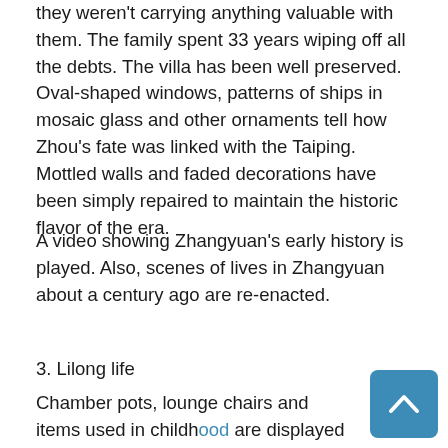they weren't carrying anything valuable with them. The family spent 33 years wiping off all the debts. The villa has been well preserved. Oval-shaped windows, patterns of ships in mosaic glass and other ornaments tell how Zhou's fate was linked with the Taiping. Mottled walls and faded decorations have been simply repaired to maintain the historic flavor of the era.
A video showing Zhangyuan's early history is played. Also, scenes of lives in Zhangyuan about a century ago are re-enacted.
3. Lilong life
Chamber pots, lounge chairs and items used in childhood are displayed in the precinct's narrow lanes to take people on an immersive tour of typical Shanghai lilong life. The patriotic film "Mr. Ren, by Mr. Guo" and other...